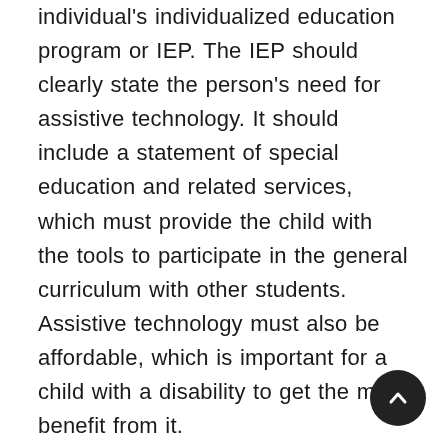individual's individualized education program or IEP. The IEP should clearly state the person's need for assistive technology. It should include a statement of special education and related services, which must provide the child with the tools to participate in the general curriculum with other students. Assistive technology must also be affordable, which is important for a child with a disability to get the most benefit from it.
Assistive technology can be a device, software, or an entire system. It can be an assistive technology for a person with a disability, or it can be a system for people with disabilities to use. Assistive technology can include a specialized curriculum and equipment for the...